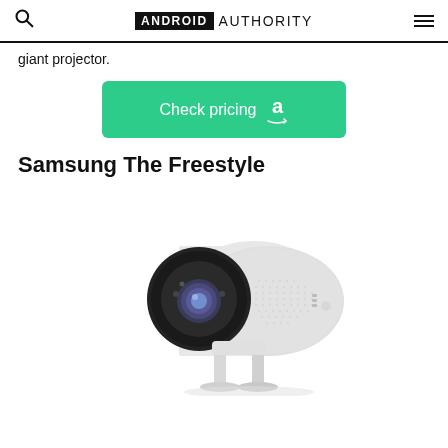ANDROID AUTHORITY
giant projector.
[Figure (other): Green 'Check pricing' button with Amazon logo]
Samsung The Freestyle
[Figure (photo): Samsung The Freestyle portable projector — a white cylindrical projector with a black front face containing the lens, shown on a stand at an angle]